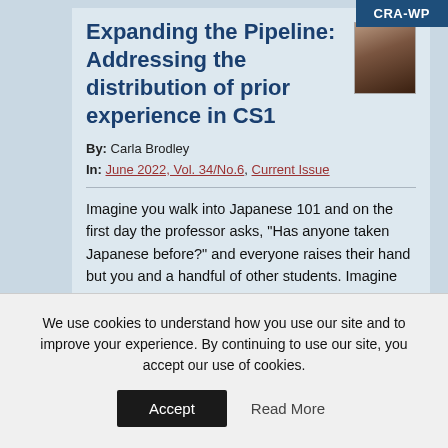CRA-WP
Expanding the Pipeline: Addressing the distribution of prior experience in CS1
By: Carla Brodley
In: June 2022, Vol. 34/No.6, Current Issue
Imagine you walk into Japanese 101 and on the first day the professor asks, “Has anyone taken Japanese before?” and everyone raises their hand but you and a handful of other students. Imagine then that your classmates not only raise their hands but
We use cookies to understand how you use our site and to improve your experience. By continuing to use our site, you accept our use of cookies.